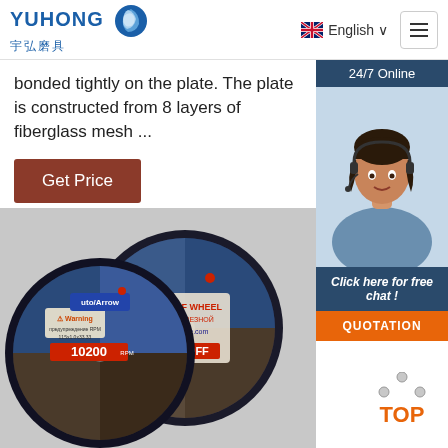YUHONG 宇弘磨具 | English | Menu
bonded tightly on the plate. The plate is constructed from 8 layers of fiberglass mesh ...
Get Price
[Figure (photo): Customer service agent with headset, 24/7 Online badge, Click here for free chat!, QUOTATION button]
[Figure (photo): Cut-off grinding wheels/discs product photo showing circular abrasive cutting discs with labels including 10200 RPM and www.xfine.com, with a TOP badge in the bottom right corner]